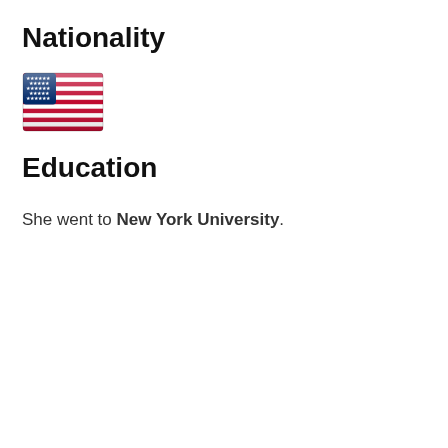Nationality
[Figure (illustration): US flag emoji — rectangular flag with blue canton with white stars and red and white horizontal stripes]
Education
She went to New York University.